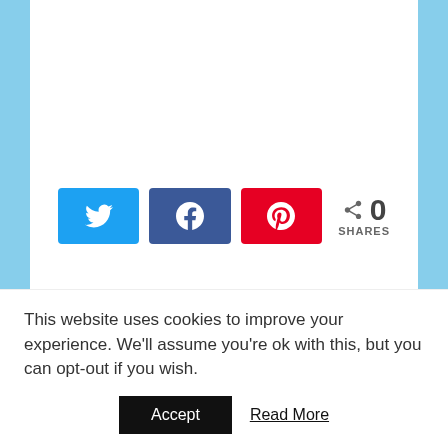[Figure (other): Social share buttons: Twitter (blue), Facebook (dark blue), Pinterest (red), and a share count showing 0 SHARES]
← ANNIE BROADWAY MUSICAL IS COMING TO THE PPAC, RI AND A 4 PACK TICKET GIVEAWAY!!!!
STAR WARS: THE FORCE AWAKENS OPENS DECEMBER 18TH! #THEFORCEAWAKENS →
This website uses cookies to improve your experience. We'll assume you're ok with this, but you can opt-out if you wish.
Accept
Read More